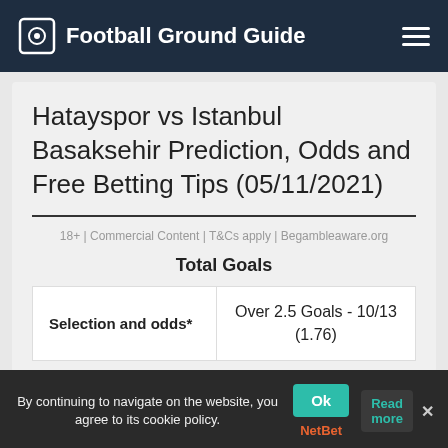Football Ground Guide
Hatayspor vs Istanbul Basaksehir Prediction, Odds and Free Betting Tips (05/11/2021)
18+ | Commercial Content | T&Cs apply | Begambleaware.org
Total Goals
| Selection and odds* |  |
| --- | --- |
| Selection and odds* | Over 2.5 Goals - 10/13 (1.76) |
By continuing to navigate on the website, you agree to its cookie policy.